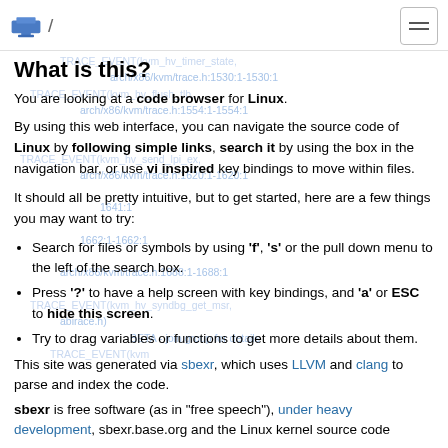/ [logo and hamburger menu]
What is this?
You are looking at a code browser for Linux.
By using this web interface, you can navigate the source code of Linux by following simple links, search it by using the box in the navigation bar, or use vi inspired key bindings to move within files.
It should all be pretty intuitive, but to get started, here are a few things you may want to try:
Search for files or symbols by using 'f', 's' or the pull down menu to the left of the search box.
Press '?' to have a help screen with key bindings, and 'a' or ESC to hide this screen.
Try to drag variables or functions to get more details about them.
This site was generated via sbexr, which uses LLVM and clang to parse and index the code.
sbexr is free software (as in "free speech"), under heavy development, sbexr.base.org and the Linux kernel source code